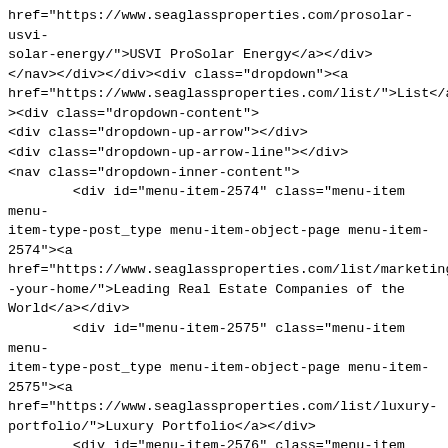href="https://www.seaglassproperties.com/prosolar-usvi-solar-energy/">USVI ProSolar Energy</a></div>
</nav></div></div><div class="dropdown"><a
href="https://www.seaglassproperties.com/list/">List</a
><div class="dropdown-content">
<div class="dropdown-up-arrow"></div>
<div class="dropdown-up-arrow-line"></div>
<nav class="dropdown-inner-content">
        <div id="menu-item-2574" class="menu-item menu-item-type-post_type menu-item-object-page menu-item-2574"><a
href="https://www.seaglassproperties.com/list/marketing-your-home/">Leading Real Estate Companies of the World</a></div>
        <div id="menu-item-2575" class="menu-item menu-item-type-post_type menu-item-object-page menu-item-2575"><a
href="https://www.seaglassproperties.com/list/luxury-portfolio/">Luxury Portfolio</a></div>
        <div id="menu-item-2576" class="menu-item menu-item-type-post_type menu-item-object-page menu-item-2576"><a
href="https://www.seaglassproperties.com/list/the-right-agent-for-you/">Marketing Your Home</a></div>
</nav></div></div><a
href="https://www.seaglassproperties.com/contact-us/">Contact</a><div class="dropdown"><a
href="https://www.seaglassproperties.com/blog/">Blog</a
><div class="dropdown-content">
<div class="dropdown-up-arrow"></div>